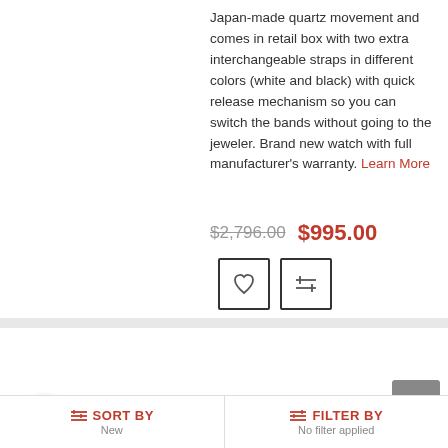Japan-made quartz movement and comes in retail box with two extra interchangeable straps in different colors (white and black) with quick release mechanism so you can switch the bands without going to the jeweler. Brand new watch with full manufacturer's warranty. Learn More
$2,796.00  $995.00
[Figure (screenshot): Heart icon wishlist button and compare icon button]
[Figure (photo): Gold luxury diamond bezel watch with gold bracelet band]
Iced Out Luxurman Large Diamond Bezel Watch for Men Yellow Gold Plated 2.5ct
★★★★★(6)
This Iced Out Large Diamond Bezel Watch for Men is...
SORT BY  New    FILTER BY  No filter applied